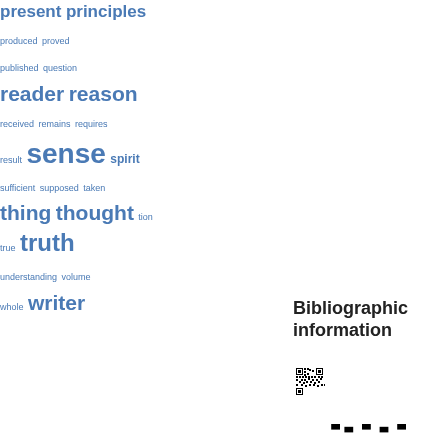[Figure (infographic): Word cloud showing terms of various sizes in blue: present, principles, produced, proved, published, question, reader, reason, received, remains, requires, result, sense, spirit, sufficient, supposed, taken, thing, thought, tion, true, truth, understanding, volume, whole, writer]
Bibliographic information
[Figure (other): QR code for bibliographic information]